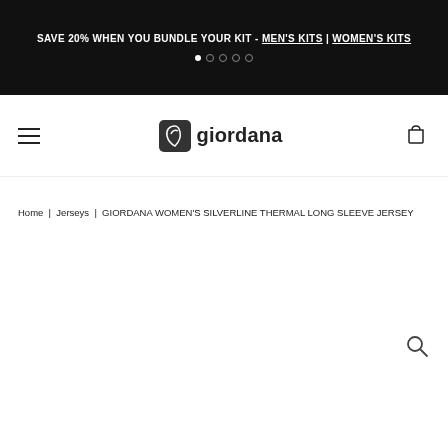SAVE 20% WHEN YOU BUNDLE YOUR KIT - MEN'S KITS | WOMEN'S KITS
[Figure (logo): Giordana cycling brand logo with bird icon and text 'giordana']
Home | Jerseys | GIORDANA WOMEN'S SILVERLINE THERMAL LONG SLEEVE JERSEY